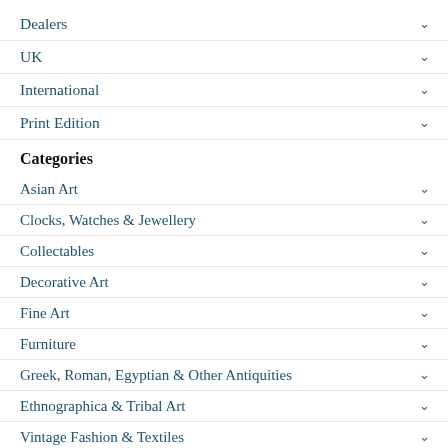Dealers
UK
International
Print Edition
Categories
Asian Art
Clocks, Watches & Jewellery
Collectables
Decorative Art
Fine Art
Furniture
Greek, Roman, Egyptian & Other Antiquities
Ethnographica & Tribal Art
Vintage Fashion & Textiles